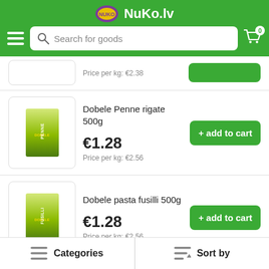NuKo.lv — Search for goods — Cart (0)
Price per kg: €2.38
[Figure (screenshot): Product image of Dobele Penne rigate pasta 500g]
Dobele Penne rigate 500g
€1.28
Price per kg: €2.56
[Figure (screenshot): Product image of Dobele pasta fusilli 500g]
Dobele pasta fusilli 500g
€1.28
Price per kg: €2.56
[Figure (screenshot): Product image of Dobele filini piccoli 500g]
Dobele filini piccoli 500g
Categories   Sort by